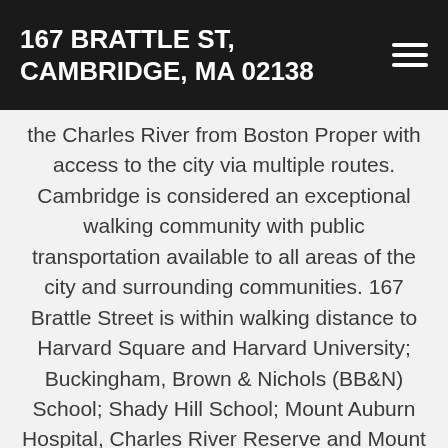167 BRATTLE ST, CAMBRIDGE, MA 02138
the Charles River from Boston Proper with access to the city via multiple routes. Cambridge is considered an exceptional walking community with public transportation available to all areas of the city and surrounding communities. 167 Brattle Street is within walking distance to Harvard Square and Harvard University; Buckingham, Brown & Nichols (BB&N) School; Shady Hill School; Mount Auburn Hospital, Charles River Reserve and Mount Auburn Cemetery.